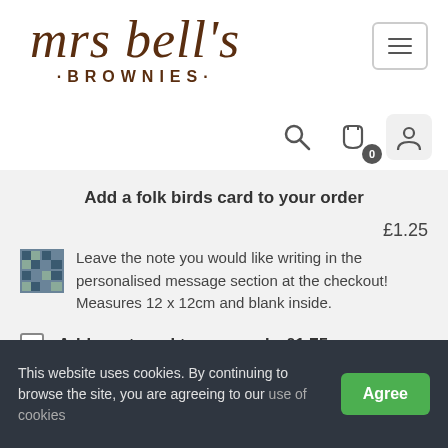[Figure (logo): Mrs Bell's Brownies logo with cursive text and subtitle]
[Figure (screenshot): Navigation icons: search, cart with 0 badge, account button]
Add a folk birds card to your order
£1.25
Leave the note you would like writing in the personalised message section at the checkout! Measures 12 x 12cm and blank inside.
Add a cat card to your order£1.75
This website uses cookies. By continuing to browse the site, you are agreeing to our use of cookies